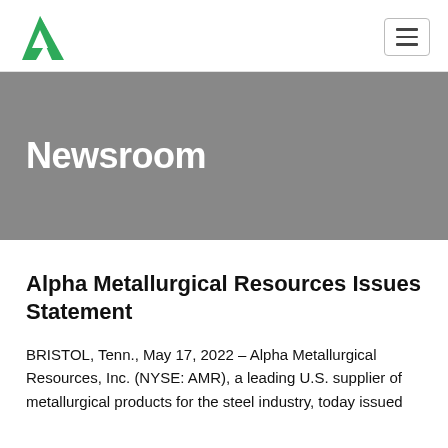[Figure (logo): Alpha Metallurgical Resources green A-shaped logo]
Newsroom
Alpha Metallurgical Resources Issues Statement
BRISTOL, Tenn., May 17, 2022 – Alpha Metallurgical Resources, Inc. (NYSE: AMR), a leading U.S. supplier of metallurgical products for the steel industry, today issued